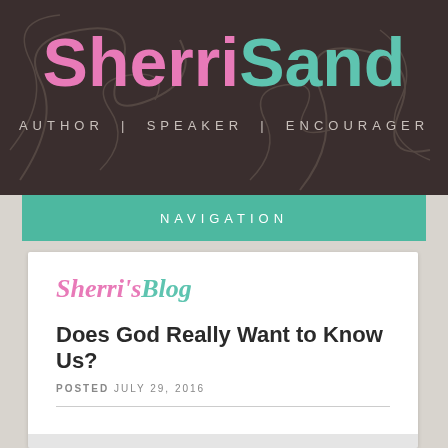SherriSand – AUTHOR | SPEAKER | ENCOURAGER
NAVIGATION
Sherri's Blog
Does God Really Want to Know Us?
POSTED JULY 29, 2016